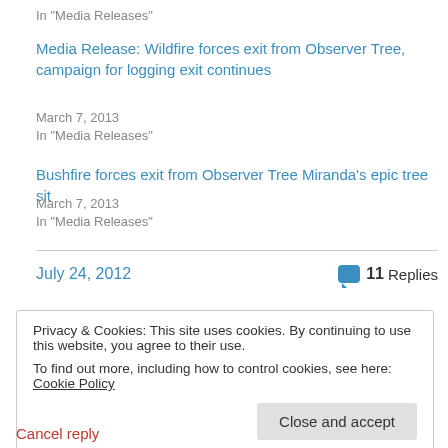In "Media Releases"
Media Release: Wildfire forces exit from Observer Tree, campaign for logging exit continues
March 7, 2013
In "Media Releases"
Bushfire forces exit from Observer Tree Miranda's epic tree sit
March 7, 2013
In "Media Releases"
July 24, 2012   11 Replies
Privacy & Cookies: This site uses cookies. By continuing to use this website, you agree to their use.
To find out more, including how to control cookies, see here: Cookie Policy
Close and accept
Cancel reply